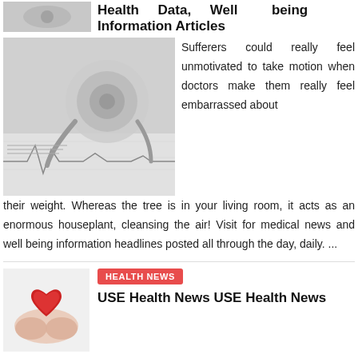[Figure (photo): Small thumbnail image of stethoscope on documents, top left]
Health Data, Well being Information Articles
[Figure (photo): Stethoscope resting on medical chart/ECG paper documents, black and white]
Sufferers could really feel unmotivated to take motion when doctors make them really feel embarrassed about their weight. Whereas the tree is in your living room, it acts as an enormous houseplant, cleansing the air! Visit for medical news and well being information headlines posted all through the day, daily. ...
[Figure (photo): Hands holding a red heart shape]
HEALTH NEWS
USE Health News USE Health News